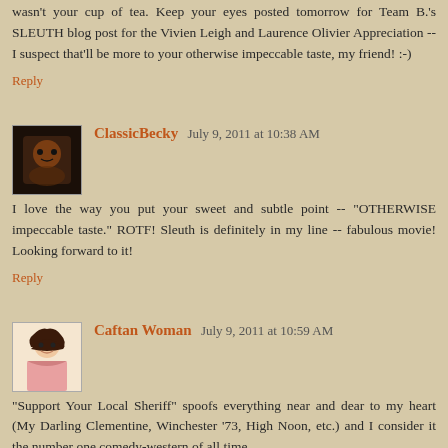wasn't your cup of tea. Keep your eyes posted tomorrow for Team B.'s SLEUTH blog post for the Vivien Leigh and Laurence Olivier Appreciation -- I suspect that'll be more to your otherwise impeccable taste, my friend! :-)
Reply
ClassicBecky July 9, 2011 at 10:38 AM
I love the way you put your sweet and subtle point -- "OTHERWISE impeccable taste." ROTF! Sleuth is definitely in my line -- fabulous movie! Looking forward to it!
Reply
Caftan Woman July 9, 2011 at 10:59 AM
"Support Your Local Sheriff" spoofs everything near and dear to my heart (My Darling Clementine, Winchester '73, High Noon, etc.) and I consider it the number one comedy-western of all time.
Garner voices the bad guy in the Disney animated feature